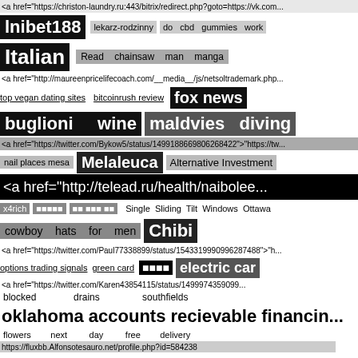<a href="https://christon-laundry.ru:443/bitrix/redirect.php?goto=https://vk.com...
lnibet188   lekarz-rodzinny   do   cbd   gummies   work
Italian   Read   chainsaw   man   manga
<a href="http://maureenpricelifecoach.com/__media__/js/netsoltrademark.php...
top vegan dating sites   bitcoinrush review   fox news
buglioni   wine   maldvies   diving
<a href="https://twitter.com/Bykow5/status/1499188669806268422">"https://tw...
nail places mesa   Melaleuca   Alternative Investment
<a href="http://telead.ru/health/naibolee...
x4rich   [squares]   [squares]   Single Sliding Tilt Windows Ottawa
cowboy   hats   for   men   Chibi
<a href="https://twitter.com/Paul77338899/status/1543319990996287488">"h...
options trading signals   green card   [squares]   electric car
<a href="https://twitter.com/Karen43854115/status/1499974359099...
blocked   drains   southfields
oklahoma accounts recievable financin...
flowers   next   day   free   delivery
https://fluxbb.Alfonsotesauro.net/profile.php?id=584238
SETTEEBET   [squares]
<a href="http://infofound.com/__media__/js/netsoltrademark.php?d=vk.com%...
Betinn[squares]   Suggested Internet page   packaging bottle 3d models
nintu   upvc